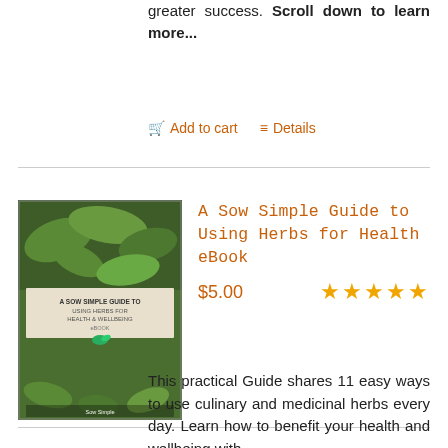greater success. Scroll down to learn more...
Add to cart   Details
A Sow Simple Guide to Using Herbs for Health eBook
$5.00  ★★★★★
This practical Guide shares 11 easy ways to use culinary and medicinal herbs every day. Learn how to benefit your health and wellbeing with